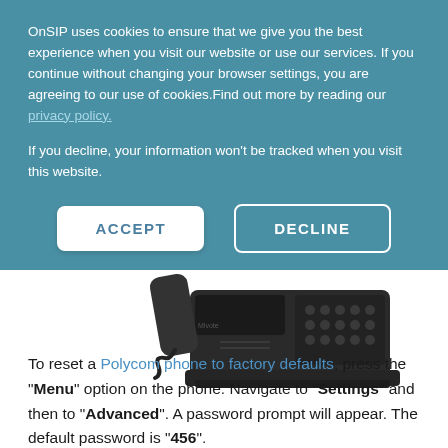OnSIP uses cookies to ensure that we give you the best experience when you visit our website or use our services. If you continue without changing your browser settings, you are agreeing to our use of cookies.Find out more by reading our privacy policy.
If you decline, your information won't be tracked when you visit this website.
ACCEPT
DECLINE
[Figure (photo): Black Polycom desk phone (Mivote brand) with handset and keypad, photographed against a white background]
To reset a Polycom phone to factory defaults, press the "Menu" option on the phone. Navigate to "Settings" and then to "Advanced". A password prompt will appear. The default password is "456".